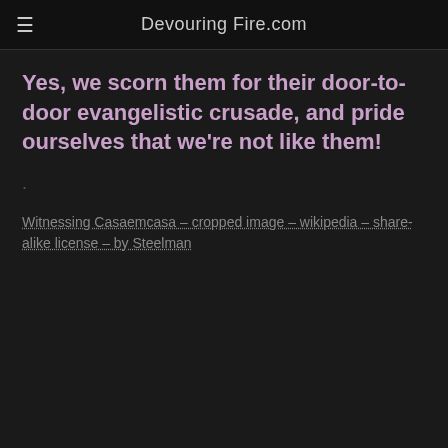Devouring Fire.com
Yes, we scorn them for their door-to-door evangelistic crusade, and pride ourselves that we're not like them!
Witnessing Casaemcasa – cropped image – wikipedia – share-alike license – by Steelman